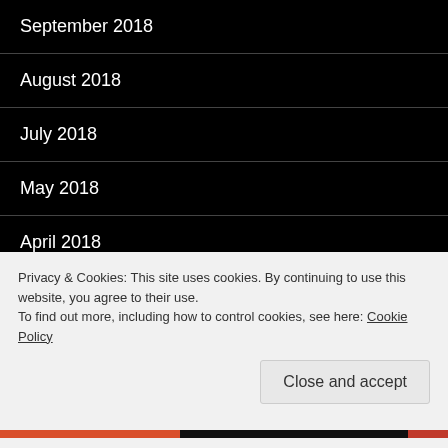September 2018
August 2018
July 2018
May 2018
April 2018
March 2018
January 2018
November 2017
October 2017
Privacy & Cookies: This site uses cookies. By continuing to use this website, you agree to their use.
To find out more, including how to control cookies, see here: Cookie Policy
Close and accept